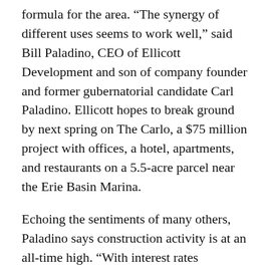formula for the area. “The synergy of different uses seems to work well,” said Bill Paladino, CEO of Ellicott Development and son of company founder and former gubernatorial candidate Carl Paladino. Ellicott hopes to break ground by next spring on The Carlo, a $75 million project with offices, a hotel, apartments, and restaurants on a 5.5-acre parcel near the Erie Basin Marina.
Echoing the sentiments of many others, Paladino says construction activity is at an all-time high. “With interest rates remaining low, I still see a lot of opportunity out there,” he said. “There’s a narrow window, and we hope to capitalize on it.”
Other areas of the city are also flourishing—most notably the Buffalo Niagara Medical Campus in